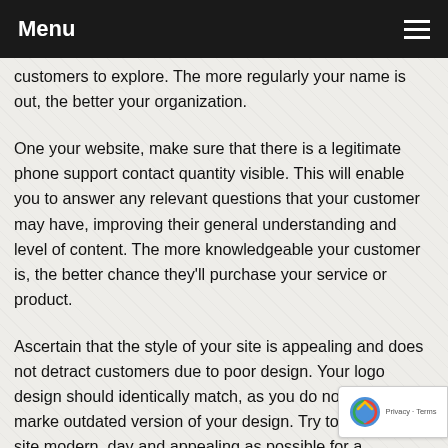Menu
customers to explore. The more regularly your name is out, the better your organization.
One your website, make sure that there is a legitimate phone support contact quantity visible. This will enable you to answer any relevant questions that your customer may have, improving their general understanding and level of content. The more knowledgeable your customer is, the better chance they'll purchase your service or product.
Ascertain that the style of your site is appealing and does not detract customers due to poor design. Your logo design should identically match, as you do not want to marke outdated version of your design. Try to make your site modern, day and appealing as possible for a comfortable